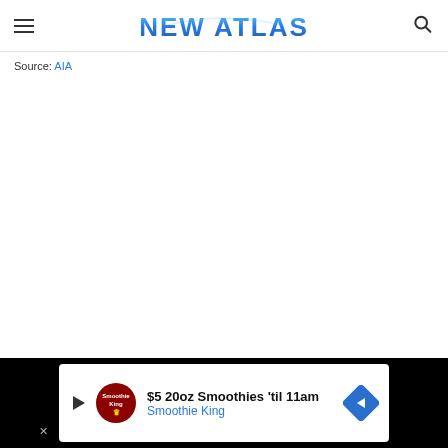NEW ATLAS
Source: AIA
[Figure (screenshot): Advertisement banner: $5 20oz Smoothies 'til 11am – Smoothie King, with play button, logo, and navigation arrow on black background.]